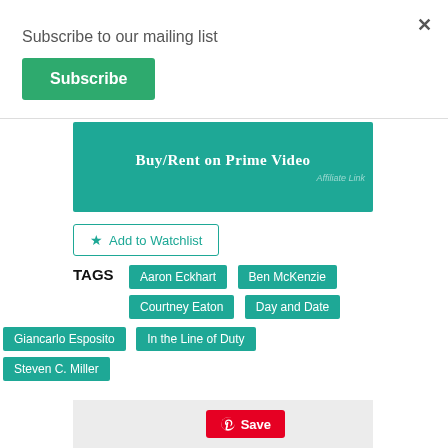Subscribe to our mailing list
Subscribe
[Figure (infographic): Teal banner with text 'Buy/Rent on Prime Video' and 'Affiliate Link' in corner]
★ Add to Watchlist
TAGS Aaron Eckhart Ben McKenzie Courtney Eaton Day and Date Giancarlo Esposito In the Line of Duty Steven C. Miller
[Figure (infographic): Gray ad box with red Pinterest Save button]